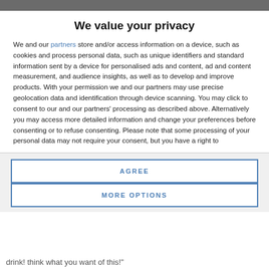We value your privacy
We and our partners store and/or access information on a device, such as cookies and process personal data, such as unique identifiers and standard information sent by a device for personalised ads and content, ad and content measurement, and audience insights, as well as to develop and improve products. With your permission we and our partners may use precise geolocation data and identification through device scanning. You may click to consent to our and our partners' processing as described above. Alternatively you may access more detailed information and change your preferences before consenting or to refuse consenting. Please note that some processing of your personal data may not require your consent, but you have a right to
AGREE
MORE OPTIONS
drink! think what you want of this!"